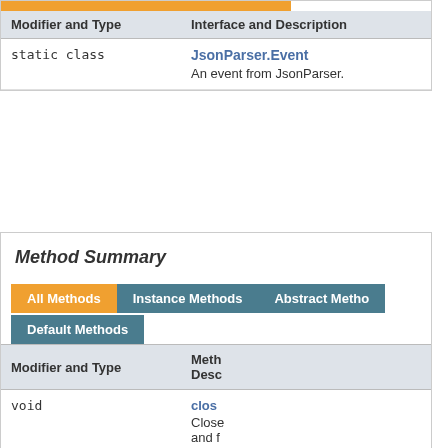| Modifier and Type | Interface and Description |
| --- | --- |
| static class | JsonParser.Event
An event from JsonParser. |
Method Summary
| Modifier and Type | Method and Description |
| --- | --- |
| void | close
Closes and frees resources associated with parser. |
| default JsonArray | getA... |